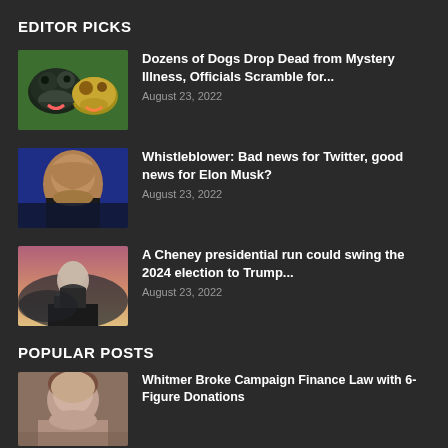EDITOR PICKS
Dozens of Dogs Drop Dead from Mystery Illness, Officials Scramble for...
August 23, 2022
Whistleblower: Bad news for Twitter, good news for Elon Musk?
August 23, 2022
A Cheney presidential run could swing the 2024 election to Trump...
August 23, 2022
POPULAR POSTS
Whitmer Broke Campaign Finance Law with 6-Figure Donations